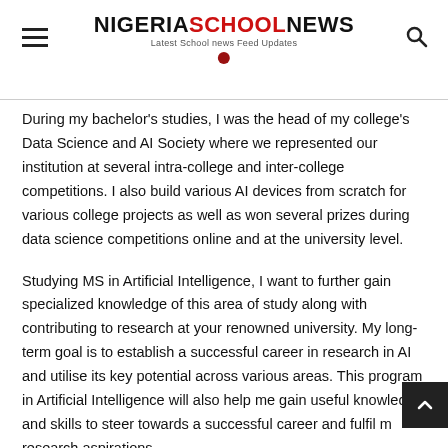NIGERIASCHOOLNEWS — Latest School news Feed Updates
During my bachelor's studies, I was the head of my college's Data Science and AI Society where we represented our institution at several intra-college and inter-college competitions. I also build various AI devices from scratch for various college projects as well as won several prizes during data science competitions online and at the university level.
Studying MS in Artificial Intelligence, I want to further gain specialized knowledge of this area of study along with contributing to research at your renowned university. My long-term goal is to establish a successful career in research in AI and utilise its key potential across various areas. This program in Artificial Intelligence will also help me gain useful knowledge and skills to steer towards a successful career and fulfil my research aspirations.